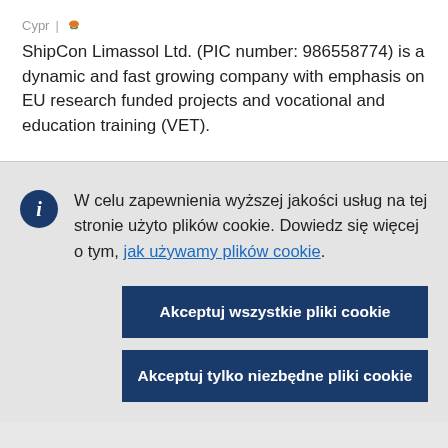Cypr
ShipCon Limassol Ltd. (PIC number: 986558774) is a dynamic and fast growing company with emphasis on EU research funded projects and vocational and education training (VET).
W celu zapewnienia wyższej jakości usług na tej stronie użyto plików cookie. Dowiedz się więcej o tym, jak używamy plików cookie.
Akceptuj wszystkie pliki cookie
Akceptuj tylko niezbędne pliki cookie